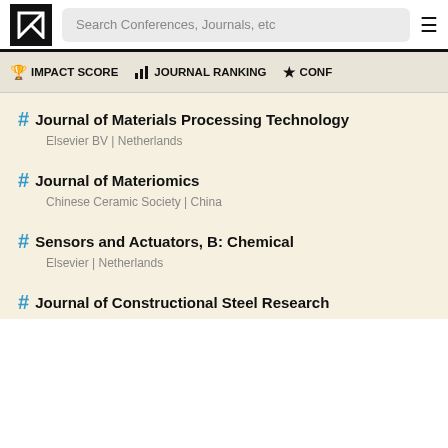Search Conferences, Journals, etc
IMPACT SCORE | JOURNAL RANKING | CONF...
Journal of Materials Processing Technology
Elsevier BV | Netherlands
Journal of Materiomics
Chinese Ceramic Society | China
Sensors and Actuators, B: Chemical
Elsevier | Netherlands
Journal of Constructional Steel Research